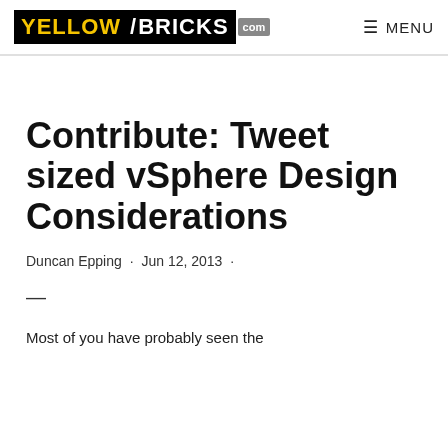YELLOW/BRICKS.com — MENU
Contribute: Tweet sized vSphere Design Considerations
Duncan Epping · Jun 12, 2013 ·
—
Most of you have probably seen the